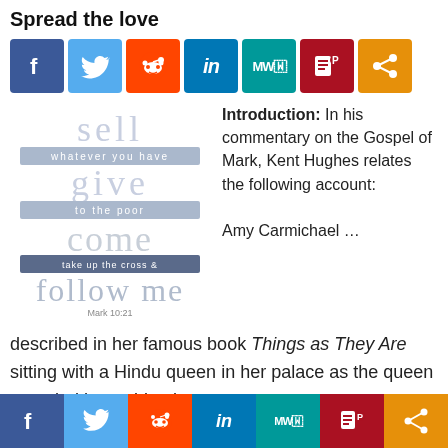Spread the love
[Figure (infographic): Social media share buttons row: Facebook (blue), Twitter (light blue), Reddit (orange), LinkedIn (dark blue), MeWe (teal), Parler (dark red), Share (orange)]
[Figure (illustration): Typographic Bible verse image with words: sell / whatever you have / give / to the poor / come / take up the cross & / follow me / Mark 10:21]
Introduction: In his commentary on the Gospel of Mark, Kent Hughes relates the following account:
Amy Carmichael … described in her famous book Things as They Are sitting with a Hindu queen in her palace as the queen revealed her spiritual
[Figure (infographic): Social media share buttons footer row: Facebook, Twitter, Reddit, LinkedIn, MeWe, Parler, Share]